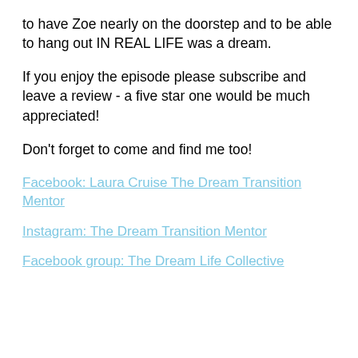to have Zoe nearly on the doorstep and to be able to hang out IN REAL LIFE was a dream.
If you enjoy the episode please subscribe and leave a review - a five star one would be much appreciated!
Don't forget to come and find me too!
Facebook: Laura Cruise The Dream Transition Mentor
Instagram: The Dream Transition Mentor
Facebook group: The Dream Life Collective